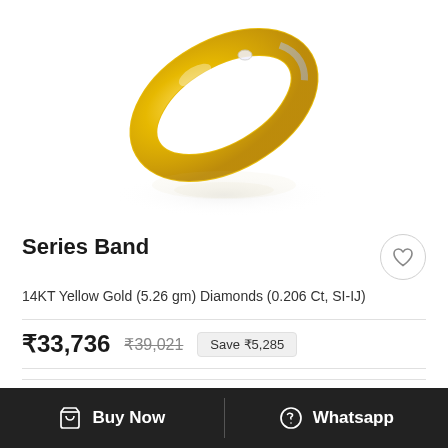[Figure (photo): Gold diamond band ring product photo on white background with shadow/reflection]
Series Band
14KT Yellow Gold (5.26 gm) Diamonds (0.206 Ct, SI-IJ)
₹33,736  ₹39,021  Save ₹5,285
Select Size
Buy Now    Whatsapp